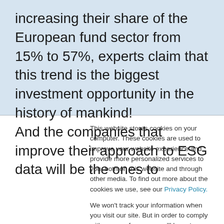increasing their share of the European fund sector from 15% to 57%, experts claim that this trend is the biggest investment opportunity in the history of mankind!

And the companies that improve their approach to ESG data will be the ones to
This website stores cookies on your computer. These cookies are used to improve your website experience and provide more personalized services to you, both on this website and through other media. To find out more about the cookies we use, see our Privacy Policy.
We won't track your information when you visit our site. But in order to comply with your preferences, we'll have to use just one tiny cookie so that you're not asked to make this choice again.